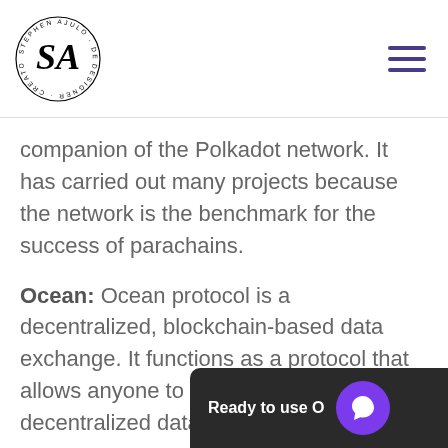[Figure (logo): Stephen Ajulo circular logo with stylized 'SA' initials. Text around circle reads: STEPHEN AJULO · DEVELOPER · DESIGNER · CREATOR · WRITER]
companion of the Polkadot network. It has carried out many projects because the network is the benchmark for the success of parachains.
Ocean: Ocean protocol is a decentralized, blockchain-based data exchange. It functions as a protocol that allows anyone to build their own decentralized data also functions as a utility